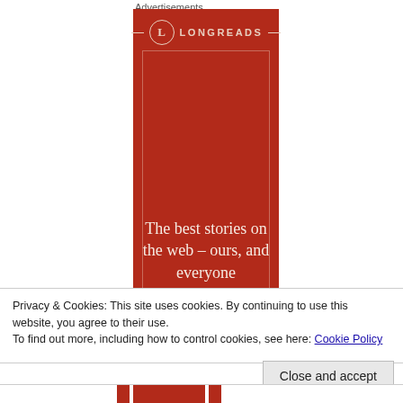Advertisements
[Figure (illustration): Longreads advertisement banner on red background with circular L logo and tagline: The best stories on the web – ours, and everyone]
Privacy & Cookies: This site uses cookies. By continuing to use this website, you agree to their use.
To find out more, including how to control cookies, see here: Cookie Policy
Close and accept